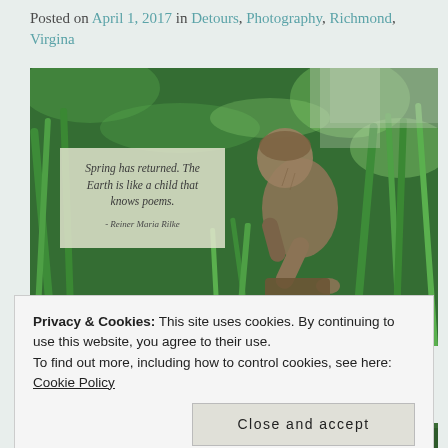Posted on April 1, 2017 in Detours, Photography, Richmond, Virgina
[Figure (photo): Garden statue of a child figure surrounded by green foliage with a semi-transparent quote overlay reading: 'Spring has returned. The Earth is like a child that knows poems. - Reiner Maria Rilke']
Privacy & Cookies: This site uses cookies. By continuing to use this website, you agree to their use.
To find out more, including how to control cookies, see here: Cookie Policy
Close and accept